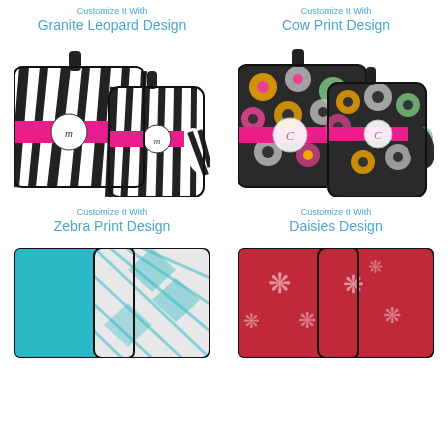[Figure (photo): Oven mitt and pot holder set with Granite Leopard design, partially visible at top]
Customize It With
Granite Leopard Design
[Figure (photo): Oven mitt and pot holder set with Cow Print design, partially visible at top]
Customize It With
Cow Print Design
[Figure (photo): Oven mitt and pot holder set with Zebra Print design, black and white stripes with pink monogram stripe]
Customize It With
Zebra Print Design
[Figure (photo): Oven mitt and pot holder set with Daisies design, dark background with colorful flowers]
Customize It With
Daisies Design
[Figure (photo): Oven mitt and pot holder set with teal/turquoise geometric diamond pattern, partially visible at bottom]
[Figure (photo): Oven mitt and pot holder set with red damask design, partially visible at bottom]